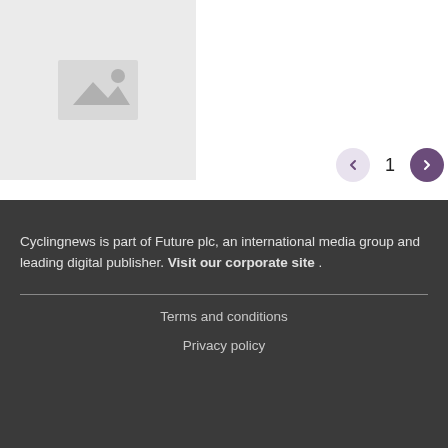[Figure (illustration): Image placeholder with mountain/photo icon on light grey background]
< 1 >
Cyclingnews is part of Future plc, an international media group and leading digital publisher. Visit our corporate site .
Terms and conditions
Privacy policy